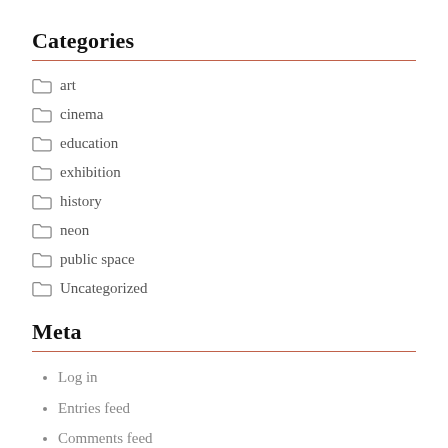Categories
art
cinema
education
exhibition
history
neon
public space
Uncategorized
Meta
Log in
Entries feed
Comments feed